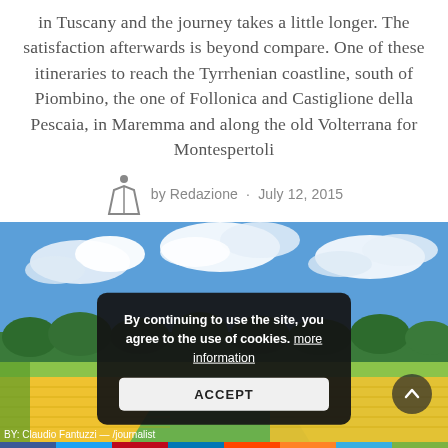in Tuscany and the journey takes a little longer. The satisfaction afterwards is beyond compare. One of these itineraries to reach the Tyrrhenian coastline, south of Piombino, the one of Follonica and Castiglione della Pescaia, in Maremma and along the old Volterrana for Montespertoli
by Redazione · July 12, 2015
[Figure (photo): Sunflower field under blue sky with clouds, green trees in background]
By continuing to use the site, you agree to the use of cookies. more information ACCEPT
BY: Claudio Fantuzzi — /journalist